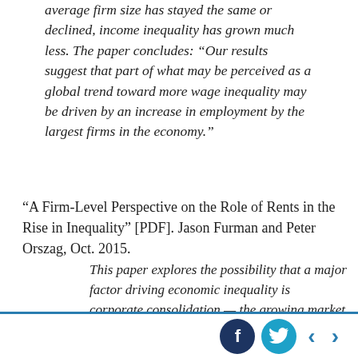average firm size has stayed the same or declined, income inequality has grown much less. The paper concludes: “Our results suggest that part of what may be perceived as a global trend toward more wage inequality may be driven by an increase in employment by the largest firms in the economy.”
“A Firm-Level Perspective on the Role of Rents in the Rise in Inequality” [PDF]. Jason Furman and Peter Orszag, Oct. 2015.
This paper explores the possibility that a major factor driving economic inequality is corporate consolidation — the growing market share of a few big companies. The authors present data showing that a small number of firms now earn